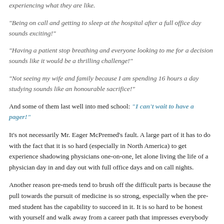experiencing what they are like.
"Being on call and getting to sleep at the hospital after a full office day sounds exciting!"
"Having a patient stop breathing and everyone looking to me for a decision sounds like it would be a thrilling challenge!"
"Not seeing my wife and family because I am spending 16 hours a day studying sounds like an honourable sacrifice!"
And some of them last well into med school: "I can't wait to have a pager!"
It's not necessarily Mr. Eager McPremed's fault. A large part of it has to do with the fact that it is so hard (especially in North America) to get experience shadowing physicians one-on-one, let alone living the life of a physician day in and day out with full office days and on call nights.
Another reason pre-meds tend to brush off the difficult parts is because the pull towards the pursuit of medicine is so strong, especially when the pre-med student has the capability to succeed in it. It is so hard to be honest with yourself and walk away from a career path that impresses everybody you tell